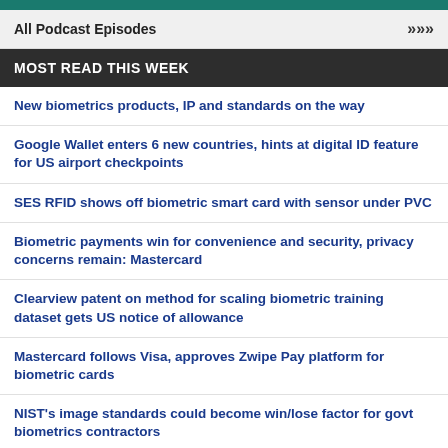All Podcast Episodes >>>
MOST READ THIS WEEK
New biometrics products, IP and standards on the way
Google Wallet enters 6 new countries, hints at digital ID feature for US airport checkpoints
SES RFID shows off biometric smart card with sensor under PVC
Biometric payments win for convenience and security, privacy concerns remain: Mastercard
Clearview patent on method for scaling biometric training dataset gets US notice of allowance
Mastercard follows Visa, approves Zwipe Pay platform for biometric cards
NIST's image standards could become win/lose factor for govt biometrics contractors